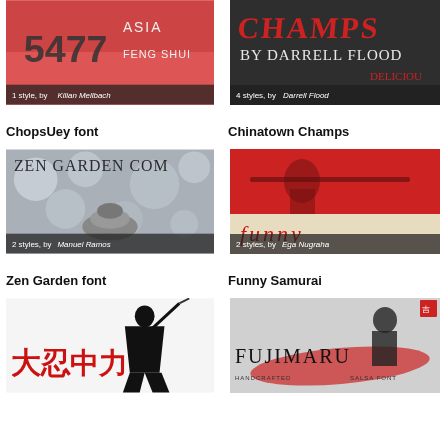[Figure (illustration): ChopsUey font thumbnail - red/pink background with Asian-style text showing '5477', 'ASIA', 'FENG SHUI'. Badge: '1 style, by Kilian Mellbach']
ChopsUey font
[Figure (illustration): Chinatown Champs font thumbnail - dark charcoal background with grunge red text 'CHAMPS BY DARRELL FLOOD'. Badge: '4 styles, by Darrell Flood']
Chinatown Champs
[Figure (illustration): Zen Garden font thumbnail - bokeh photo of stacked stones with 'ZEN GARDEN COMI' text overlay. Badge: '2 styles, by Manuel Ramos']
Zen Garden font
[Figure (illustration): Funny Samurai font thumbnail - red/cream design with samurai silhouette and 'funny' text. Badge: '2 styles, by Ega Nugraha']
Funny Samurai
[Figure (illustration): Font thumbnail - black ninja silhouette on white with red Asian characters]
[Figure (illustration): Fujimaru font thumbnail - snowy scene with samurai and red brush stroke, 'FUJIMARU HANDCRAFTED SALSA FONT']